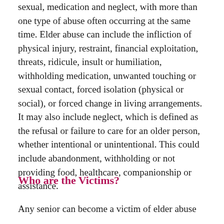sexual, medication and neglect, with more than one type of abuse often occurring at the same time. Elder abuse can include the infliction of physical injury, restraint, financial exploitation, threats, ridicule, insult or humiliation, withholding medication, unwanted touching or sexual contact, forced isolation (physical or social), or forced change in living arrangements. It may also include neglect, which is defined as the refusal or failure to care for an older person, whether intentional or unintentional. This could include abandonment, withholding or not providing food, healthcare, companionship or assistance.
Who are the Victims?
Any senior can become a victim of elder abuse